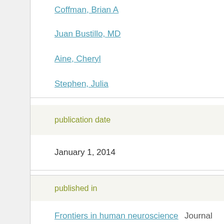Coffman, Brian A
Juan Bustillo, MD
Aine, Cheryl
Stephen, Julia
publication date
January 1, 2014
published in
Frontiers in human neuroscience  Journal